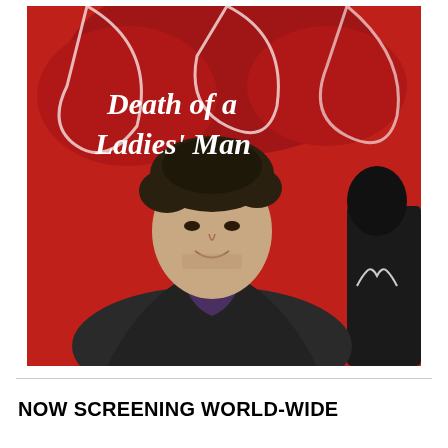[Figure (photo): Movie poster / promotional photo for 'Death of a Ladies' Man'. A man with dark curly hair wearing a dark jacket and scarf smiles at the camera. Behind him is a large red backdrop with the title text 'Death of a Ladies' Man' in white serif font, and a stylized illustration of reddish figures.]
NOW SCREENING WORLD-WIDE